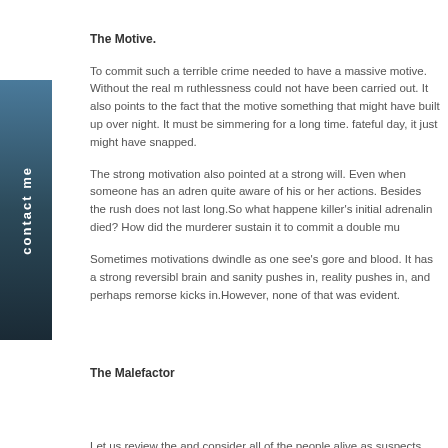The Motive.
To commit such a terrible crime needed to have a massive motive. Without the real m ruthlessness could not have been carried out. It also points to the fact that the motive something that might have built up over night. It must be simmering for a long time. fateful day, it just might have snapped.
The strong motivation also pointed at a strong will. Even when someone has an adren quite aware of his or her actions. Besides the rush does not last long.So what happene killer's initial adrenalin died? How did the murderer sustain it to commit a double mu
Sometimes motivations dwindle as one see's gore and blood. It has a strong reversibl brain and sanity pushes in, reality pushes in, and perhaps remorse kicks in.However, none of that was evident.
The Malefactor
Let us review the and consider all of the people alive as suspects.